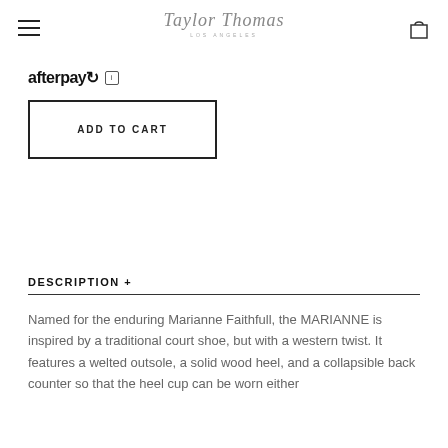Taylor Thomas Los Angeles
afterpay
ADD TO CART
DESCRIPTION +
Named for the enduring Marianne Faithfull, the MARIANNE is inspired by a traditional court shoe, but with a western twist. It features a welted outsole, a solid wood heel, and a collapsible back counter so that the heel cup can be worn either